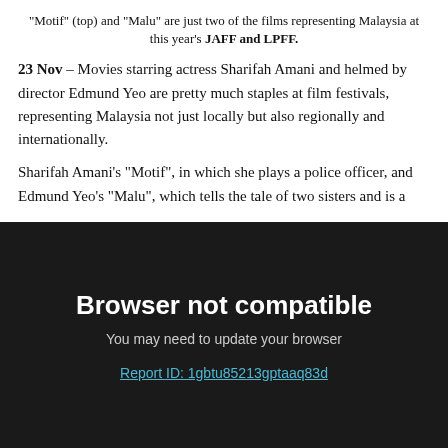"Motif" (top) and "Malu" are just two of the films representing Malaysia at this year's JAFF and LPFF.
23 Nov – Movies starring actress Sharifah Amani and helmed by director Edmund Yeo are pretty much staples at film festivals, representing Malaysia not just locally but also regionally and internationally.
Sharifah Amani's "Motif", in which she plays a police officer, and Edmund Yeo's "Malu", which tells the tale of two sisters and is a
Browser not compatible
You may need to update your browser
Report ID: 1gbtu85213gptaaq83d